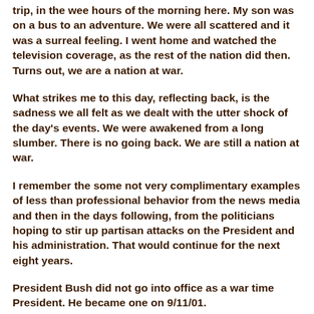trip, in the wee hours of the morning here. My son was on a bus to an adventure. We were all scattered and it was a surreal feeling. I went home and watched the television coverage, as the rest of the nation did then. Turns out, we are a nation at war.
What strikes me to this day, reflecting back, is the sadness we all felt as we dealt with the utter shock of the day's events. We were awakened from a long slumber. There is no going back. We are still a nation at war.
I remember the some not very complimentary examples of less than professional behavior from the news media and then in the days following, from the politicians hoping to stir up partisan attacks on the President and his administration. That would continue for the next eight years.
President Bush did not go into office as a war time President. He became one on 9/11/01.